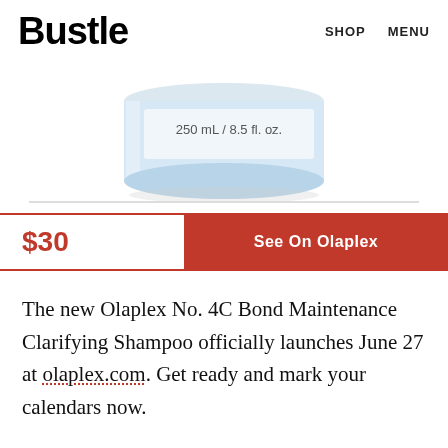Bustle  SHOP  MENU
[Figure (photo): Product photo of Olaplex No. 4C Bond Maintenance Clarifying Shampoo bottle showing '250 mL / 8.5 fl. oz.' label on a light blue cylindrical container]
$30  See On Olaplex
The new Olaplex No. 4C Bond Maintenance Clarifying Shampoo officially launches June 27 at olaplex.com. Get ready and mark your calendars now.